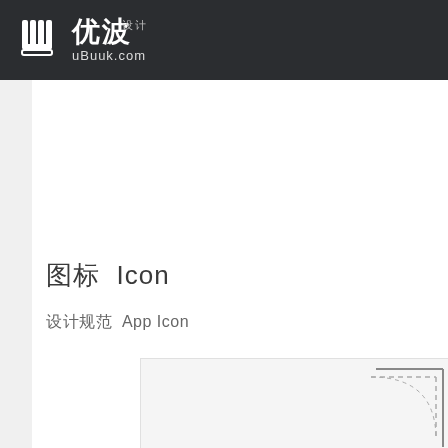优波 设计 uBuuk.com
图标 Icon
设计规范 App Icon
[Figure (illustration): Diagram box showing App Icon layout guide with dashed corner radius lines in gray on light background]